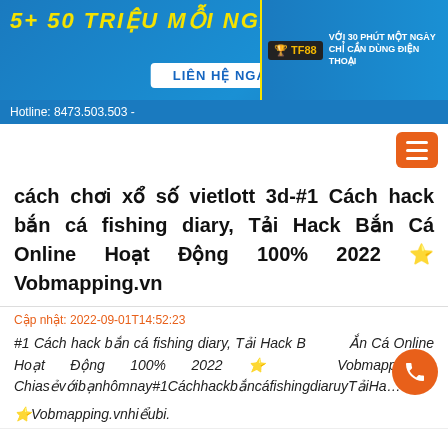[Figure (screenshot): Vietnamese online gambling advertisement banner with yellow text '5+ 50 TRIỆU MỖI NGÀY', LIÊN HỆ NGAY call-to-action button, and TF88 brand logo on right side with text 'VỚI 30 PHÚT MỘT NGÀY CHỈ CẦN DÙNG ĐIỆN THOẠI']
Hotline: 8473.503.503 -
cách chơi xổ số vietlott 3d-#1 Cách hack bắn cá fishing diary, Tải Hack Bắn Cá Online Hoạt Động 100% 2022 ⭐ Vobmapping.vn
Cập nhật: 2022-09-01T14:52:23
#1 Cách hack bắn cá fishing diary, Tải Hack Bắn Cá Online Hoạt Động 100% 2022 ⭐ Vobmapping.vn Chia sẻ với bạn hôm nay #1 Cách hack bắn cá fishing diary, Tải Ha… ⭐Vobmapping.vn hiểu bi.